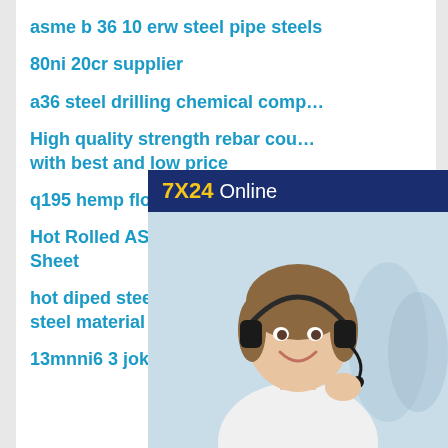asme b 36 10 erw steel pipe steels
80ni 20cr supplier
a36 steel drilling chemical com…
High quality strength rebar cou… with best and low price
q195 hemp flower carbon steel…
Hot Rolled ASTM A36 Steel Pla… Sheet
hot diped steel pipe presteel pipes steel material
13mnni6 3 jokers steel plate sheet
[Figure (infographic): 7X24 Online chat widget showing a woman with a headset and the text 'Hello,may I help you?' with a 'Get Latest Price' button]